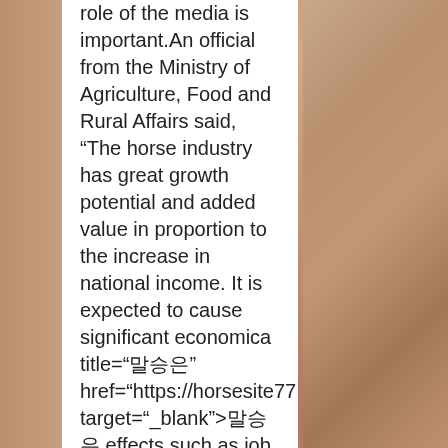role of the media is important.An official from the Ministry of Agriculture, Food and Rural Affairs said, “The horse industry has great growth potential and added value in proportion to the increase in national income. It is expected to cause significant economica title="말승은" href="https://horsesite77.com" target="_blank">말승은 effects such as job creation in related industries, he said.As a result, we hope that our disabled people will also enjoy health and happiness through horseback riding, and that disabled people will